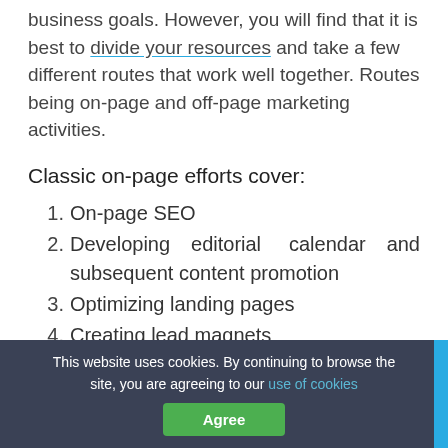business goals. However, you will find that it is best to divide your resources and take a few different routes that work well together. Routes being on-page and off-page marketing activities.
Classic on-page efforts cover:
On-page SEO
Developing editorial calendar and subsequent content promotion
Optimizing landing pages
Creating lead magnets
This website uses cookies. By continuing to browse the site, you are agreeing to our use of cookies  Agree